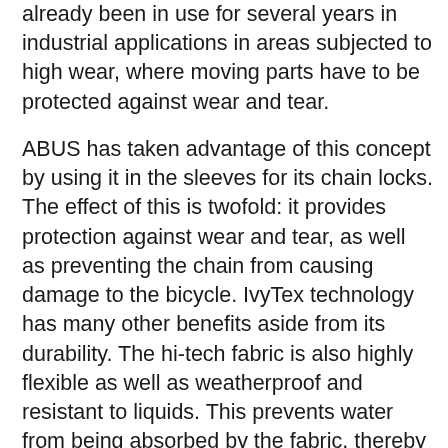already been in use for several years in industrial applications in areas subjected to high wear, where moving parts have to be protected against wear and tear.
ABUS has taken advantage of this concept by using it in the sleeves for its chain locks. The effect of this is twofold: it provides protection against wear and tear, as well as preventing the chain from causing damage to the bicycle. IvyTex technology has many other benefits aside from its durability. The hi-tech fabric is also highly flexible as well as weatherproof and resistant to liquids. This prevents water from being absorbed by the fabric, thereby protecting the locks against corrosion. Its durability also means that there's no excuse for not securing your bicycle, even if the weather is bad and you worry about the lock getting dirty.
- 7mm square chain with functional, long-lasting, and highly-flexible mesh sleeve to prevent damage to the bicycle's paint
- The sleeve offers very high protection against abrasion